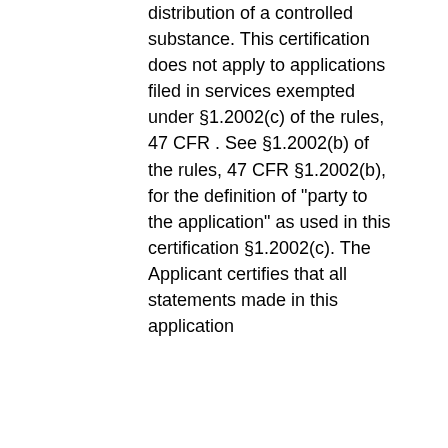distribution of a controlled substance. This certification does not apply to applications filed in services exempted under §1.2002(c) of the rules, 47 CFR . See §1.2002(b) of the rules, 47 CFR §1.2002(b), for the definition of "party to the application" as used in this certification §1.2002(c). The Applicant certifies that all statements made in this application